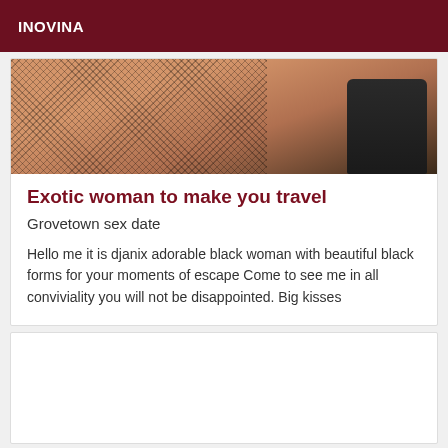INOVINA
[Figure (photo): Cropped photo showing a person wearing fishnet stockings and a black leather boot/glove, with skin visible, against a light background.]
Exotic woman to make you travel
Grovetown sex date
Hello me it is djanix adorable black woman with beautiful black forms for your moments of escape Come to see me in all conviviality you will not be disappointed. Big kisses